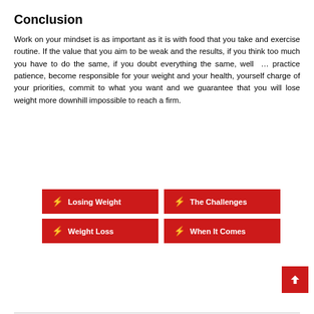Conclusion
Work on your mindset is as important as it is with food that you take and exercise routine. If the value that you aim to be weak and the results, if you think too much you have to do the same, if you doubt everything the same, well … practice patience, become responsible for your weight and your health, yourself charge of your priorities, commit to what you want and we guarantee that you will lose weight more downhill impossible to reach a firm.
⚡ Losing Weight
⚡ The Challenges
⚡ Weight Loss
⚡ When It Comes